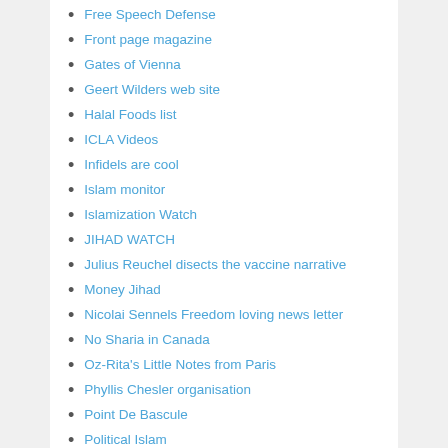Free Speech Defense
Front page magazine
Gates of Vienna
Geert Wilders web site
Halal Foods list
ICLA Videos
Infidels are cool
Islam monitor
Islamization Watch
JIHAD WATCH
Julius Reuchel disects the vaccine narrative
Money Jihad
Nicolai Sennels Freedom loving news letter
No Sharia in Canada
Oz-Rita’s Little Notes from Paris
Phyllis Chesler organisation
Point De Bascule
Political Islam
Radical Islam Org
RAIR FOUNDATION VIDEO CHANNEL
Raymond Ibrahim’s site
Search the Koran